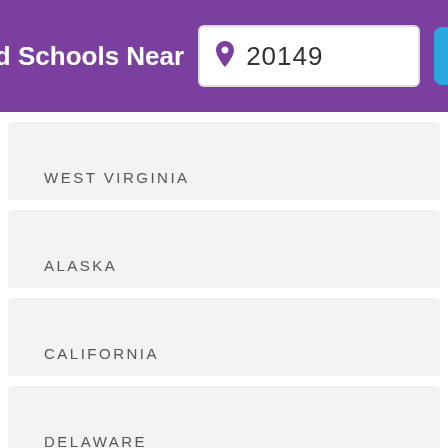Find Schools Near 20149
WEST VIRGINIA
ALASKA
CALIFORNIA
DELAWARE